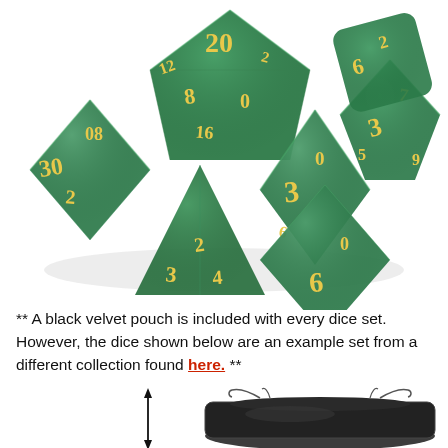[Figure (photo): A collection of green pearlescent polyhedral dice with gold numbers, including d4, d6, d8, d10, d12, d20 and other types, arranged in a group on a white background.]
** A black velvet pouch is included with every dice set. However, the dice shown below are an example set from a different collection found here. **
[Figure (photo): A black velvet drawstring pouch with a measurement arrow indicator on the left side.]